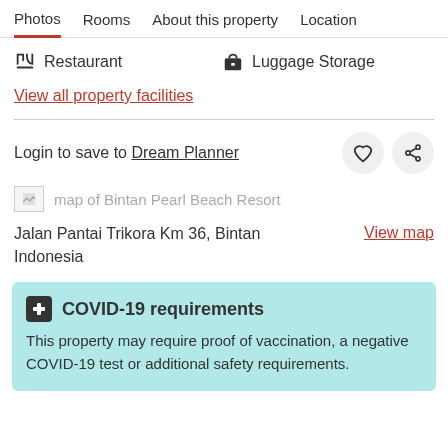Photos  Rooms  About this property  Location
Restaurant  Luggage Storage
View all property facilities
Login to save to Dream Planner
[Figure (other): Map placeholder image of Bintan Pearl Beach Resort]
Jalan Pantai Trikora Km 36, Bintan Indonesia
View map
COVID-19 requirements
This property may require proof of vaccination, a negative COVID-19 test or additional safety requirements.